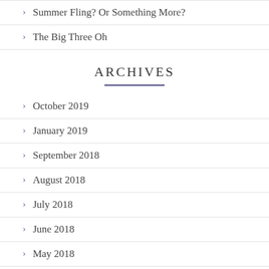Summer Fling? Or Something More?
The Big Three Oh
ARCHIVES
October 2019
January 2019
September 2018
August 2018
July 2018
June 2018
May 2018
April 2018
March 2018